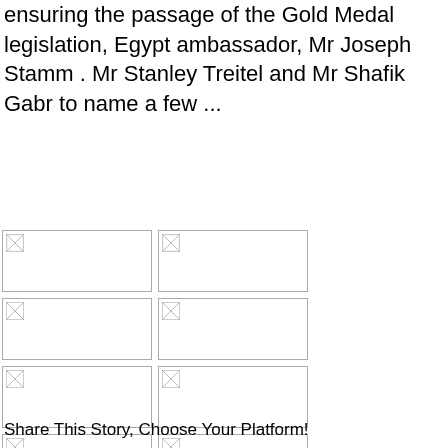ensuring the passage of the Gold Medal legislation, Egypt ambassador, Mr Joseph Stamm . Mr Stanley Treitel and Mr Shafik Gabr to name a few ...
[Figure (photo): Placeholder image (broken image icon), row 1 left]
[Figure (photo): Placeholder image (broken image icon), row 1 right]
[Figure (photo): Placeholder image (broken image icon), row 2 left]
[Figure (photo): Placeholder image (broken image icon), row 2 right]
[Figure (photo): Placeholder image (broken image icon), row 3 left]
[Figure (photo): Placeholder image (broken image icon), row 3 right]
[Figure (photo): Placeholder image (broken image icon), row 4 left]
[Figure (photo): Placeholder image (broken image icon), row 4 right]
Share This Story, Choose Your Platform!